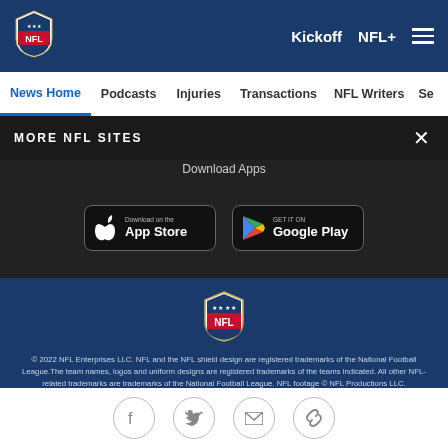[Figure (logo): NFL shield logo in header, white on dark blue background]
Kickoff  NFL+  ☰
News Home  Podcasts  Injuries  Transactions  NFL Writers  Se
MORE NFL SITES  ✕
Download Apps
[Figure (screenshot): App Store download button - black rounded rectangle with Apple logo and 'Download on the App Store' text]
[Figure (screenshot): Google Play download button - black rounded rectangle with Google Play logo and 'GET IT ON Google Play' text]
[Figure (logo): NFL shield logo, large, centered on dark blue footer background]
© 2022 NFL Enterprises LLC. NFL and the NFL shield design are registered trademarks of the National Football League.The team names, logos and uniform designs are registered trademarks of the teams indicated. All other NFL-related trademarks are trademarks of the National Football League. NFL footage © NFL Productions LLC.
[Figure (infographic): Social media icons row: Facebook, Twitter, Email, Link/chain icon — circular outlined buttons on white background]